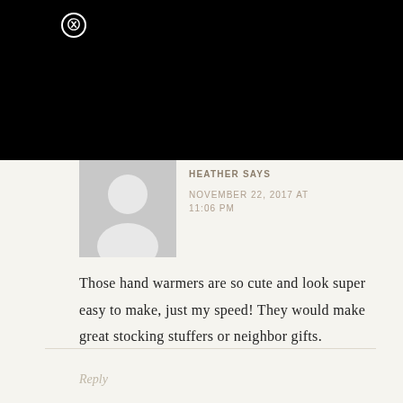[Figure (screenshot): Black header area with close button (circled X) in top-left corner]
[Figure (illustration): Generic grey user avatar silhouette icon]
HEATHER says
NOVEMBER 22, 2017 AT 11:06 PM
Those hand warmers are so cute and look super easy to make, just my speed! They would make great stocking stuffers or neighbor gifts.
Reply